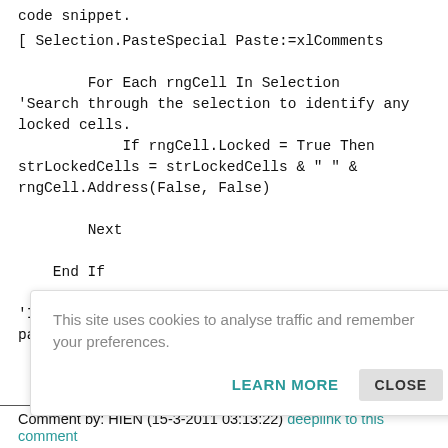code snippet.
[ Selection.PasteSpecial Paste:=xlComments

        For Each rngCell In Selection
'Search through the selection to identify any locked cells.
            If rngCell.Locked = True Then strLockedCells = strLockedCells & " " & rngCell.Address(False, False)

        Next

    End If

'If there is no locked cells in the area to be pasted then paste is allowed else "do nothing".
This site uses cookies to analyse traffic and remember your preferences.
LEARN MORE    CLOSE
Comment by: HIEN (15-3-2011 03:13:22) deeplink to this comment